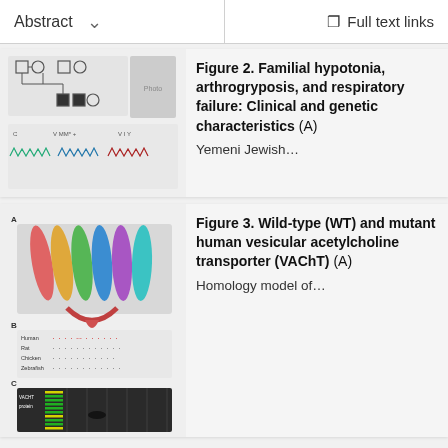Abstract    ∨    Full text links
[Figure (illustration): Medical figure showing pedigree chart and patient photo with sequence data for familial hypotonia case]
Figure 2. Familial hypotonia, arthrogryposis, and respiratory failure: Clinical and genetic characteristics (A) Yemeni Jewish…
[Figure (illustration): Scientific figure showing protein structure model (colorful transmembrane protein), sequence alignment, and gel electrophoresis for VAChT]
Figure 3. Wild-type (WT) and mutant human vesicular acetylcholine transporter (VAChT) (A) Homology model of…